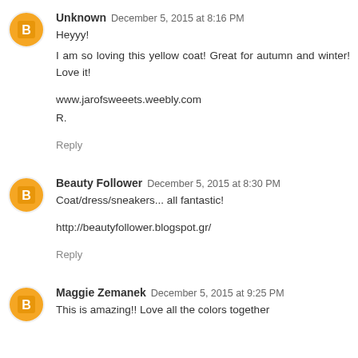Unknown  December 5, 2015 at 8:16 PM
Heyyy!

I am so loving this yellow coat! Great for autumn and winter! Love it!

www.jarofsweeets.weebly.com
R.
Reply
Beauty Follower  December 5, 2015 at 8:30 PM
Coat/dress/sneakers... all fantastic!

http://beautyfollower.blogspot.gr/
Reply
Maggie Zemanek  December 5, 2015 at 9:25 PM
This is amazing!! Love all the colors together